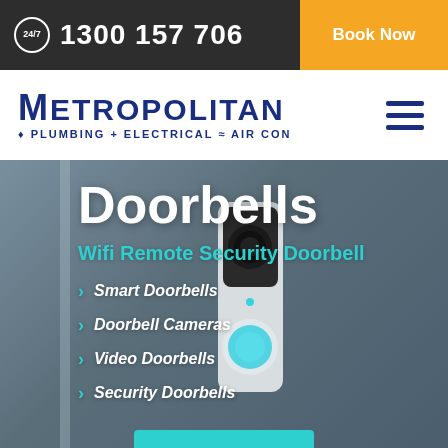24/7  1300 157 706  Book Now
[Figure (logo): Metropolitan Plumbing + Electrical + Air Con logo with hamburger menu icon]
Doorbells
Wifi Remote Security Doorbell
Smart Doorbells
Doorbell Cameras
Video Doorbells
Security Doorbells